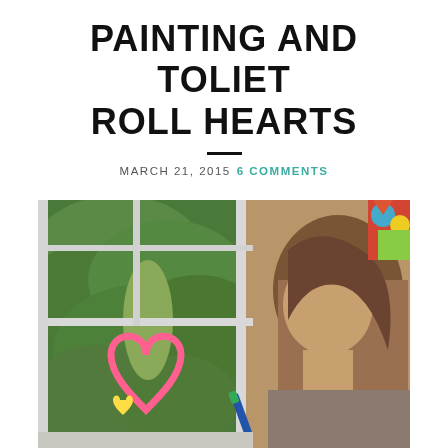PAINTING AND TOLIET ROLL HEARTS
MARCH 21, 2015  6 COMMENTS
[Figure (photo): A young girl drawing a pink heart shape on a window with a marker. Outside the window is a lush green garden. In the upper right corner, colorful decorations are visible.]